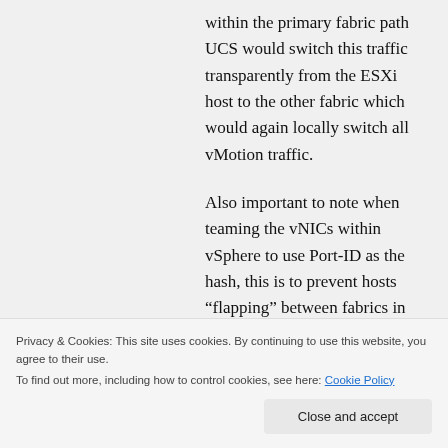within the primary fabric path UCS would switch this traffic transparently from the ESXi host to the other fabric which would again locally switch all vMotion traffic.
Also important to note when teaming the vNICs within vSphere to use Port-ID as the hash, this is to prevent hosts “flapping” between fabrics in the eyes of the upstream LAN switches.
Of course the pri...
Privacy & Cookies: This site uses cookies. By continuing to use this website, you agree to their use.
To find out more, including how to control cookies, see here: Cookie Policy